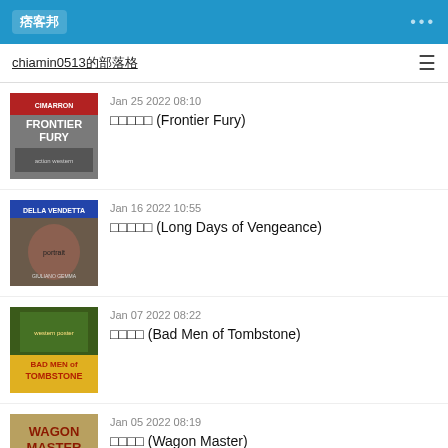痞客邦
chiamin0513的部落格
Jan 25 2022 08:10 — 邊境怒火 (Frontier Fury)
Jan 16 2022 10:55 — 漫長的復仇 (Long Days of Vengeance)
Jan 07 2022 08:22 — 殺手四人 (Bad Men of Tombstone)
Jan 05 2022 08:19 — 驛馬車 (Wagon Master)